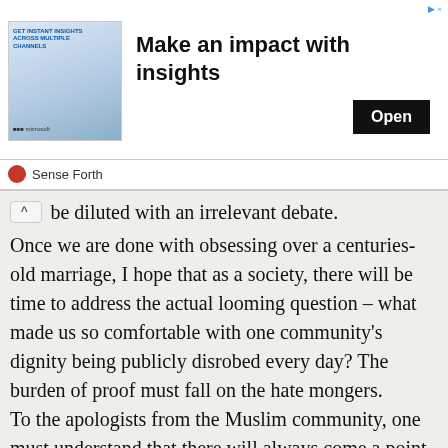[Figure (screenshot): Advertisement banner: 'Make an impact with insights' with an Open button and Sense Forth branding]
be diluted with an irrelevant debate.
Once we are done with obsessing over a centuries-old marriage, I hope that as a society, there will be time to address the actual looming question – what made us so comfortable with one community's dignity being publicly disrobed every day? The burden of proof must fall on the hate mongers.
To the apologists from the Muslim community, one must understand that there will always come a point where faith will surpass popular logic and rationalisations, particularly those derived from a modern worldview. This will remain the real test of faith and perhaps the deepest of faith...